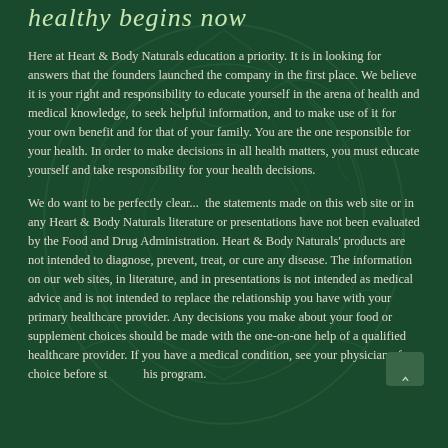healthy begins now
Here at Heart & Body Naturals education a priority. It is in looking for answers that the founders launched the company in the first place. We believe it is your right and responsibility to educate yourself in the arena of health and medical knowledge, to seek helpful information, and to make use of it for your own benefit and for that of your family. You are the one responsible for your health. In order to make decisions in all health matters, you must educate yourself and take responsibility for your health decisions.
We do want to be perfectly clear...  the statements made on this web site or in any Heart & Body Naturals literature or presentations have not been evaluated by the Food and Drug Administration. Heart & Body Naturals' products are not intended to diagnose, prevent, treat, or cure any disease. The information on our web sites, in literature, and in presentations is not intended as medical advice and is not intended to replace the relationship you have with your primary healthcare provider. Any decisions you make about your food or supplement choices should be made with the one-on-one help of a qualified healthcare provider. If you have a medical condition, see your physician of choice before starting this program.